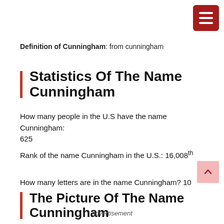[Figure (other): Dark red hamburger menu button icon in top-right corner]
Definition of Cunningham: from cunningham
Statistics Of The Name Cunningham
How many people in the U.S have the name Cunningham: 625
Rank of the name Cunningham in the U.S.: 16,008th
How many letters are in the name Cunningham? 10
The Picture Of The Name Cunningham
advertisement